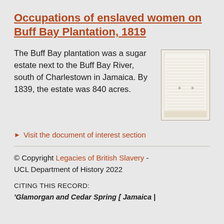Occupations of enslaved women on Buff Bay Plantation, 1819
The Buff Bay plantation was a sugar estate next to the Buff Bay River, south of Charlestown in Jamaica. By 1839, the estate was 840 acres.
[Figure (photo): A photograph of a handwritten historical document, showing faded lines of text on aged paper.]
Visit the document of interest section
© Copyright Legacies of British Slavery - UCL Department of History 2022
CITING THIS RECORD:
'Glamorgan and Cedar Spring [ Jamaica |